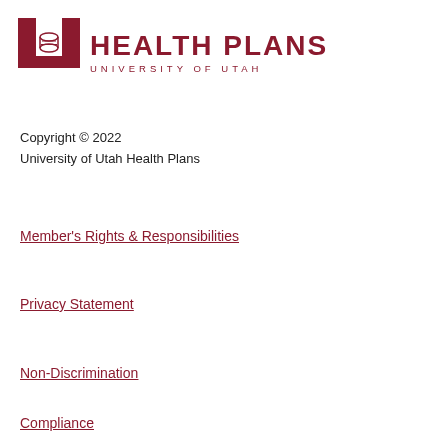[Figure (logo): University of Utah Health Plans logo with block U icon and text 'HEALTH PLANS / UNIVERSITY OF UTAH']
Copyright © 2022
University of Utah Health Plans
Member's Rights & Responsibilities
Privacy Statement
Non-Discrimination
Compliance